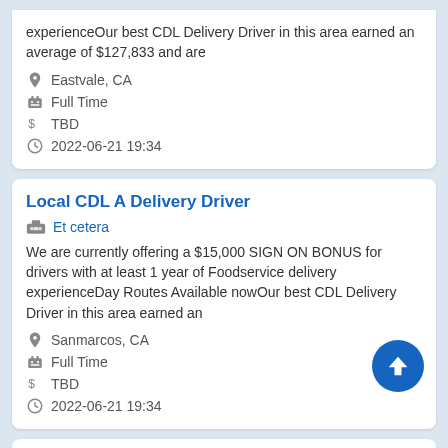experienceOur best CDL Delivery Driver in this area earned an average of $127,833 and are
Eastvale, CA
Full Time
TBD
2022-06-21 19:34
Local CDL A Delivery Driver
Et cetera
We are currently offering a $15,000 SIGN ON BONUS for drivers with at least 1 year of Foodservice delivery experienceDay Routes Available nowOur best CDL Delivery Driver in this area earned an
Sanmarcos, CA
Full Time
TBD
2022-06-21 19:34
Local CDL A Delivery Driver
Et cetera